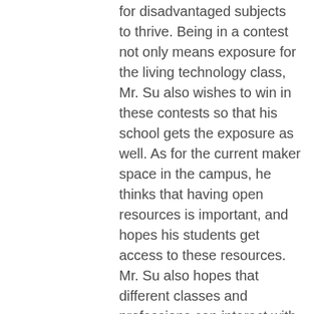for disadvantaged subjects to thrive. Being in a contest not only means exposure for the living technology class, Mr. Su also wishes to win in these contests so that his school gets the exposure as well. As for the current maker space in the campus, he thinks that having open resources is important, and hopes his students get access to these resources. Mr. Su also hopes that different classes and professions can interact with each other more often, and complement each other.